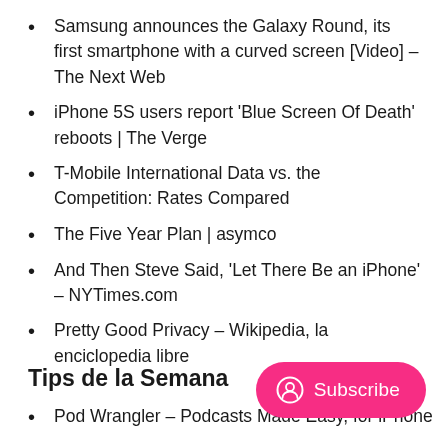Samsung announces the Galaxy Round, its first smartphone with a curved screen [Video] – The Next Web
iPhone 5S users report 'Blue Screen Of Death' reboots | The Verge
T-Mobile International Data vs. the Competition: Rates Compared
The Five Year Plan | asymco
And Then Steve Said, 'Let There Be an iPhone' – NYTimes.com
Pretty Good Privacy – Wikipedia, la enciclopedia libre
Tips de la Semana
Pod Wrangler – Podcasts Made Easy, for iPhone